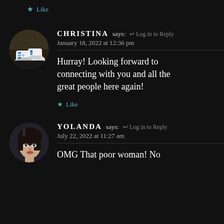★ Like
[Figure (photo): Circular avatar photo showing running shoes (sneakers) with blue accents on a track surface]
CHRISTINA says: ← Log in to Reply
January 18, 2022 at 12:36 pm
Hurray! Looking forward to connecting with you and all the great people here again!
★ Like
[Figure (photo): Circular avatar photo showing close-up of a woman's face with dark hair and makeup]
YOLANDA says: ← Log in to Reply
July 22, 2022 at 11:27 am
OMG That poor woman! No